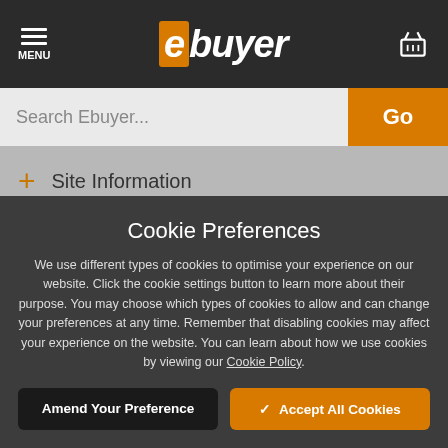ebuyer - MENU
Search Ebuyer...
+ Site Information
Cookie Preferences
We use different types of cookies to optimise your experience on our website. Click the cookie settings button to learn more about their purpose. You may choose which types of cookies to allow and can change your preferences at any time. Remember that disabling cookies may affect your experience on the website. You can learn about how we use cookies by viewing our Cookie Policy.
Amend Your Preference
Accept All Cookies